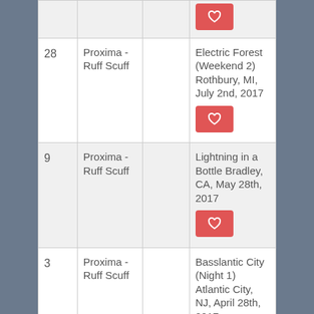| # | Artist |  | Event |
| --- | --- | --- | --- |
| 28 | Proxima - Ruff Scuff |  | Electric Forest (Weekend 2) Rothbury, MI, July 2nd, 2017 |
| 9 | Proxima - Ruff Scuff |  | Lightning in a Bottle Bradley, CA, May 28th, 2017 |
| 3 | Proxima - Ruff Scuff |  | Basslantic City (Night 1) Atlantic City, NJ, April 28th, 2017 |